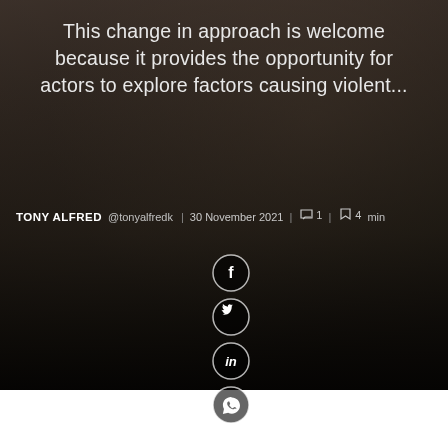[Figure (photo): Dark background image of people in formal attire, partially obscured, with a dark overlay. Used as a banner/hero image for an article.]
This change in approach is welcome because it provides the opportunity for actors to explore factors causing violent...
TONY ALFRED  @tonyalfredk  |  30 November 2021  |  💬 1  |  🔖 4 min
[Figure (infographic): Four circular social media share buttons arranged vertically: Facebook (f), Twitter (bird), LinkedIn (in), WhatsApp (phone icon)]